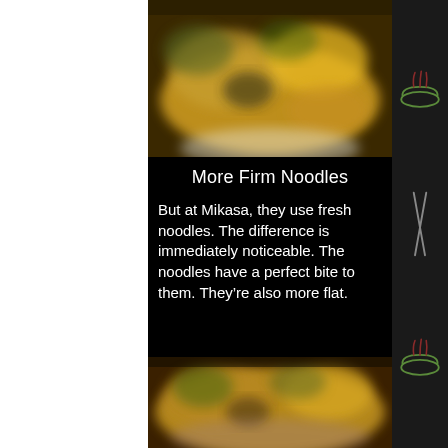[Figure (photo): Blurred close-up photo of noodle dish with colorful toppings, warm yellow/orange tones, taken from above on a white plate]
More Firm Noodles
But at Mikasa, they use fresh noodles. The difference is immediately noticeable. The noodles have a perfect bite to them. They’re also more flat.
[Figure (photo): Blurred close-up photo of noodle dish similar to the top image, warm tones, partial view at bottom of screen]